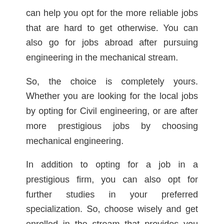can help you opt for the more reliable jobs that are hard to get otherwise. You can also go for jobs abroad after pursuing engineering in the mechanical stream.
So, the choice is completely yours. Whether you are looking for the local jobs by opting for Civil engineering, or are after more prestigious jobs by choosing mechanical engineering.
In addition to opting for a job in a prestigious firm, you can also opt for further studies in your preferred specialization. So, choose wisely and get enrolled in the stream that provides you better job opportunities after studies.
Mechanical Engineering vs Civil